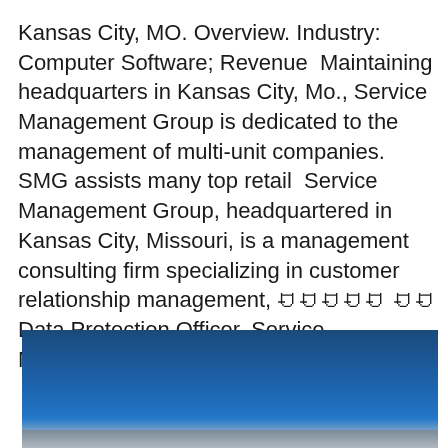Kansas City, MO. Overview. Industry: Computer Software; Revenue  Maintaining headquarters in Kansas City, Mo., Service Management Group is dedicated to the management of multi-unit companies. SMG assists many top retail  Service Management Group, headquartered in Kansas City, Missouri, is a management consulting firm specializing in customer relationship management, ꀀꀀꀀꀀꀀ ꀀꀀ Data Protection Officer, Service Management Group, LLC, 1737.
[Figure (photo): Photograph with a blue sky gradient background, appears to show an outdoor scene with blue sky and possibly a horizon line at the bottom.]